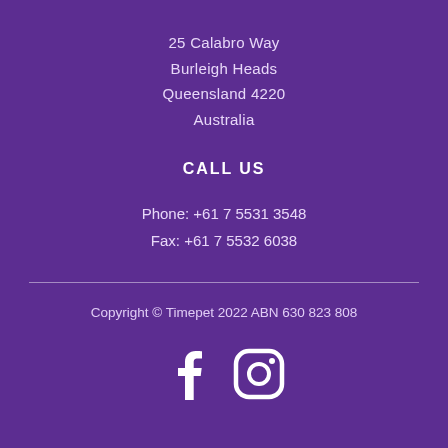25 Calabro Way
Burleigh Heads
Queensland 4220
Australia
CALL US
Phone: +61 7 5531 3548
Fax: +61 7 5532 6038
Copyright © Timepet 2022 ABN 630 823 808
[Figure (illustration): Facebook and Instagram social media icons in white]